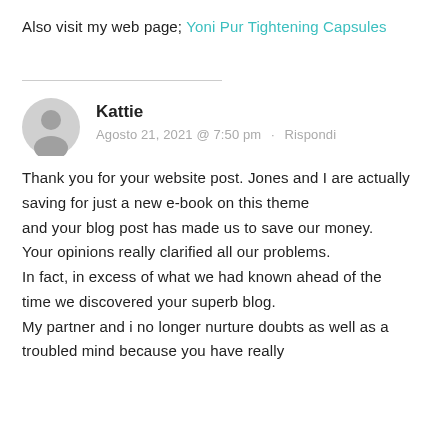Also visit my web page; Yoni Pur Tightening Capsules
Kattie
Agosto 21, 2021 @ 7:50 pm · Rispondi
Thank you for your website post. Jones and I are actually saving for just a new e-book on this theme and your blog post has made us to save our money. Your opinions really clarified all our problems. In fact, in excess of what we had known ahead of the time we discovered your superb blog. My partner and i no longer nurture doubts as well as a troubled mind because you have really